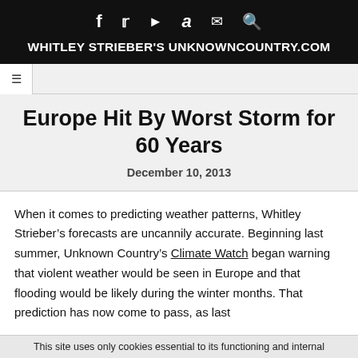WHITLEY STRIEBER'S UNKNOWNCOUNTRY.COM
Europe Hit By Worst Storm for 60 Years
December 10, 2013
When it comes to predicting weather patterns, Whitley Strieber's forecasts are uncannily accurate. Beginning last summer, Unknown Country's Climate Watch began warning that violent weather would be seen in Europe and that flooding would be likely during the winter months. That prediction has now come to pass, as last
This site uses only cookies essential to its functioning and internal